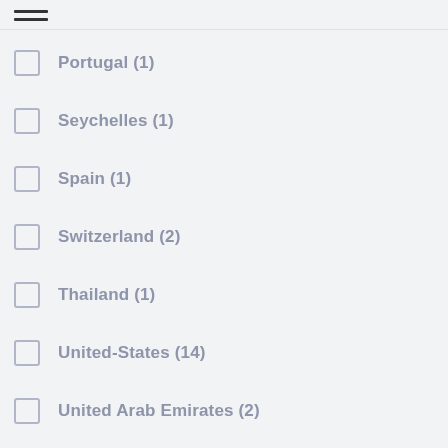Portugal (1)
Seychelles (1)
Spain (1)
Switzerland (2)
Thailand (1)
United-States (14)
United Arab Emirates (2)
United Kingdom (18)